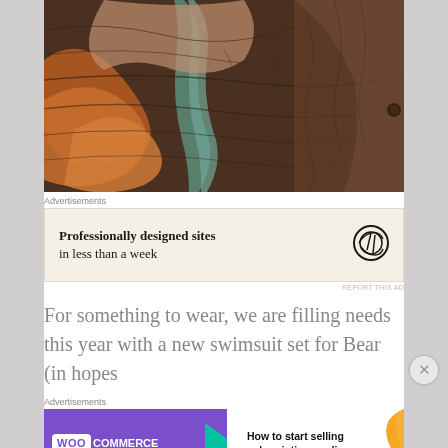[Figure (photo): Close-up photo of a colorful textured blanket or quilt with leaf-like patterns in browns, oranges, teal, and earth tones]
Advertisements
[Figure (screenshot): WordPress advertisement: 'Professionally designed sites in less than a week' with WordPress logo]
REPORT THIS AD
For something to wear, we are filling needs this year with a new swimsuit set for Bear (in hopes
Advertisements
[Figure (screenshot): WooCommerce advertisement: 'How to start selling subscriptions online' with WooCommerce logo and colorful design]
REPORT THIS AD